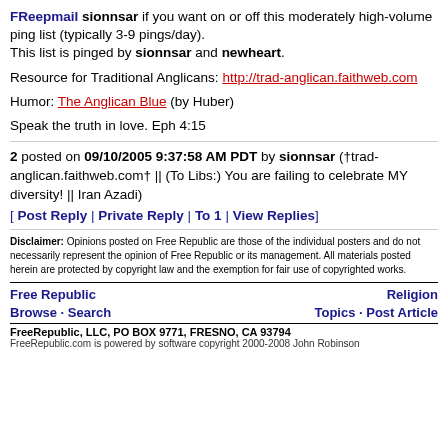FReepmail sionnsar if you want on or off this moderately high-volume ping list (typically 3-9 pings/day). This list is pinged by sionnsar and newheart.
Resource for Traditional Anglicans: http://trad-anglican.faithweb.com
Humor: The Anglican Blue (by Huber)
Speak the truth in love. Eph 4:15
2 posted on 09/10/2005 9:37:58 AM PDT by sionnsar (†trad-anglican.faithweb.com† || (To Libs:) You are failing to celebrate MY diversity! || Iran Azadi)
[ Post Reply | Private Reply | To 1 | View Replies]
Disclaimer: Opinions posted on Free Republic are those of the individual posters and do not necessarily represent the opinion of Free Republic or its management. All materials posted herein are protected by copyright law and the exemption for fair use of copyrighted works.
Free Republic Browse · Search Religion Topics · Post Article FreeRepublic, LLC, PO BOX 9771, FRESNO, CA 93794 FreeRepublic.com is powered by software copyright 2000-2008 John Robinson